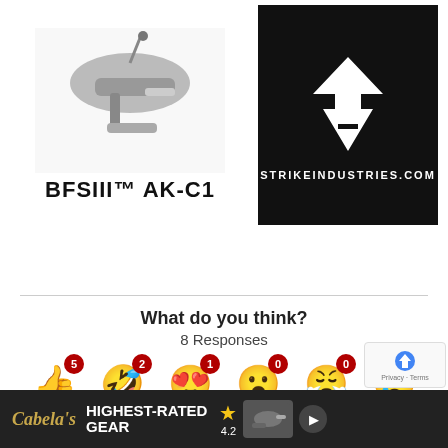[Figure (photo): BFSIII AK-C1 product image showing a gun trigger assembly on white background]
[Figure (logo): Strike Industries logo on black background with strikeindustries.com text]
BFSIII™ AK-C1
What do you think?
8 Responses
[Figure (infographic): Reaction emoji row: Upvote (thumbs up, 5), Funny (laughing emoji, 2), Love (heart eyes, 1), Surprised (0), Angry (0), Sad (0)]
The Firearm Blog Comment Policy
TFB welcomes polite and respectful discussions. Attack...comm...
[Figure (infographic): Cabela's Highest-Rated Gear advertisement banner with 4.2 star rating]